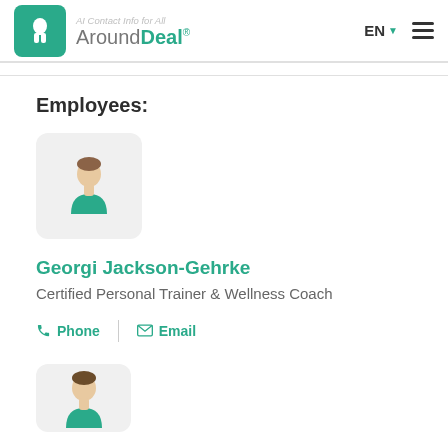AroundDeal® — AI Contact Info for All
Employees:
[Figure (illustration): Generic person avatar icon with teal shirt on light gray rounded square background]
Georgi Jackson-Gehrke
Certified Personal Trainer & Wellness Coach
Phone   Email
[Figure (illustration): Generic person avatar icon with teal shirt on light gray rounded square background (second employee)]